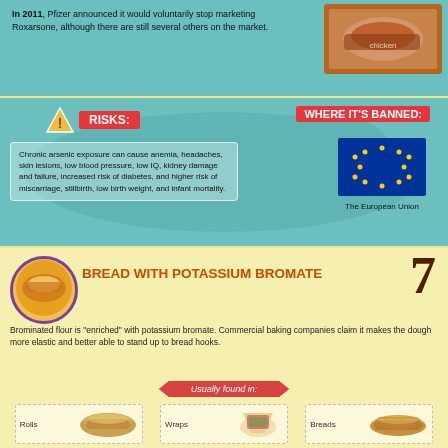In 2011, Pfizer announced it would voluntarily stop marketing Roxarsone, although there are still several others on the market.
RISKS:
WHERE IT'S BANNED:
Chronic arsenic exposure can cause anemia, headaches, skin lesions, low blood pressure, low IQ, kidney damage and failure, increased risk of diabetes, and higher risk of miscarriage, stillbirth, low birth weight, and infant mortality.
[Figure (illustration): EU flag - blue background with circle of gold stars]
The European Union
BREAD WITH POTASSIUM BROMATE
Brominated flour is "enriched" with potassium bromate. Commercial baking companies claim it makes the dough more elastic and better able to stand up to bread hooks.
Usually found in:
Rolls
Wraps
Breads
Bread crumbs
Bagel chips
RISKS:
WHERE IT'S BANNED:
Potassium bromate has been linked to kidney and nervous system damage, thyroid problems, and gastrointestinal discomfort.